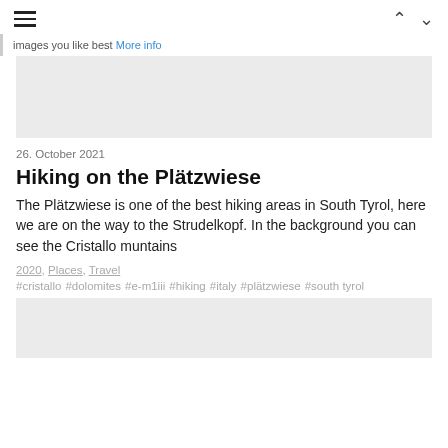≡  ∧  ∨
images you like best More info
[Figure (photo): Gray placeholder image at top]
26. October 2021
Hiking on the Plätzwiese
The Plätzwiese is one of the best hiking areas in South Tyrol, here we are on the way to the Strudelkopf. In the background you can see the Cristallo muntains
2020, Places, Travel
#cristallo #dolomites #e-m1iii #hiking #italy #plätzwiese #south tyrol
[Figure (photo): Gray placeholder image at bottom]